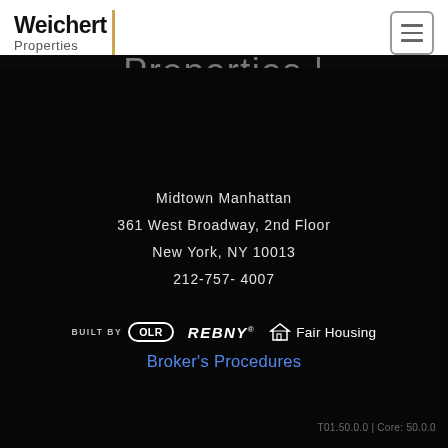[Figure (logo): Weichert Properties logo with yellow vertical bar divider]
[Figure (other): Hamburger menu button (three horizontal lines) in a rounded square border]
Properties |
Midtown Manhattan
361 West Broadway, 2nd Floor
New York, NY 10013
212-757- 4007
[Figure (logo): BUILT BY OLR badge, REBNY logo, Fair Housing logo with house icon]
Broker's Procedures
T01.50.0.0 | Core: 50.0.0